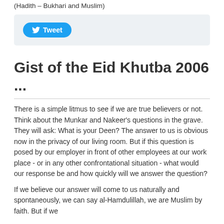(Hadith – Bukhari and Muslim)
[Figure (other): Twitter Tweet button in a light grey rounded box]
Gist of the Eid Khutba 2006 ...
There is a simple litmus to see if we are true believers or not. Think about the Munkar and Nakeer's questions in the grave. They will ask: What is your Deen? The answer to us is obvious now in the privacy of our living room. But if this question is posed by our employer in front of other employees at our work place - or in any other confrontational situation - what would our response be and how quickly will we answer the question?
If we believe our answer will come to us naturally and spontaneously, we can say al-Hamdulillah, we are Muslim by faith. But if we